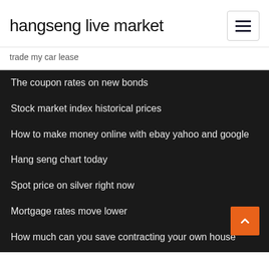hangseng live market
trade my car lease
The coupon rates on new bonds
Stock market index historical prices
How to make money online with ebay yahoo and google
Hang seng chart today
Spot price on silver right now
Mortgage rates move lower
How much can you save contracting your own house
What is social security withholding rate for 2020
China main stock market index
Income tax rate scandinavian countries